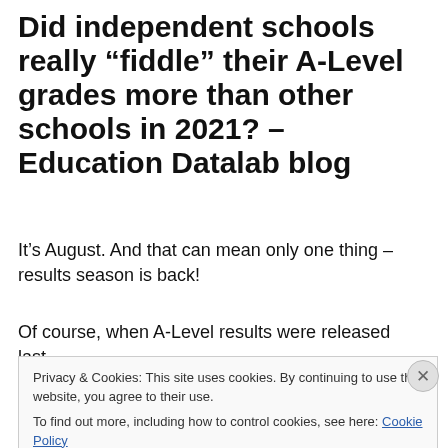Did independent schools really “fiddle” their A-Level grades more than other schools in 2021? – Education Datalab blog
It’s August. And that can mean only one thing – results season is back!
Of course, when A-Level results were released last
Privacy & Cookies: This site uses cookies. By continuing to use this website, you agree to their use.
To find out more, including how to control cookies, see here: Cookie Policy
Close and accept